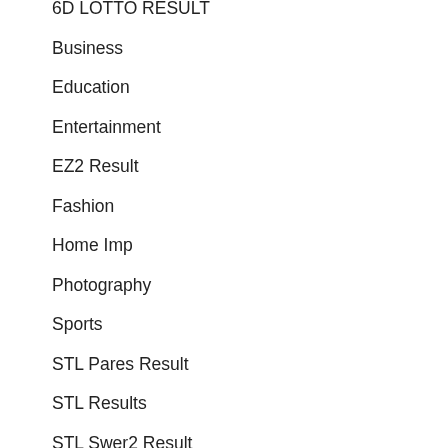6D LOTTO RESULT
Business
Education
Entertainment
EZ2 Result
Fashion
Home Imp
Photography
Sports
STL Pares Result
STL Results
STL Swer2 Result
STL SWER3 Result
STL Swer4 Result